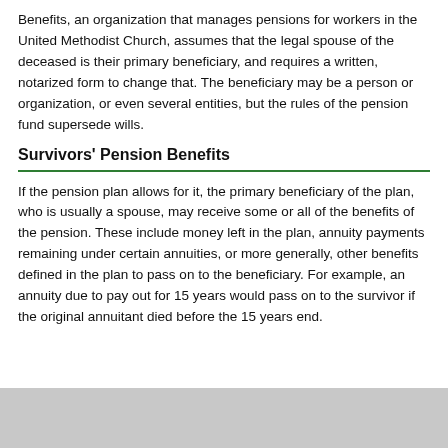Benefits, an organization that manages pensions for workers in the United Methodist Church, assumes that the legal spouse of the deceased is their primary beneficiary, and requires a written, notarized form to change that. The beneficiary may be a person or organization, or even several entities, but the rules of the pension fund supersede wills.
Survivors' Pension Benefits
If the pension plan allows for it, the primary beneficiary of the plan, who is usually a spouse, may receive some or all of the benefits of the pension. These include money left in the plan, annuity payments remaining under certain annuities, or more generally, other benefits defined in the plan to pass on to the beneficiary. For example, an annuity due to pay out for 15 years would pass on to the survivor if the original annuitant died before the 15 years end.